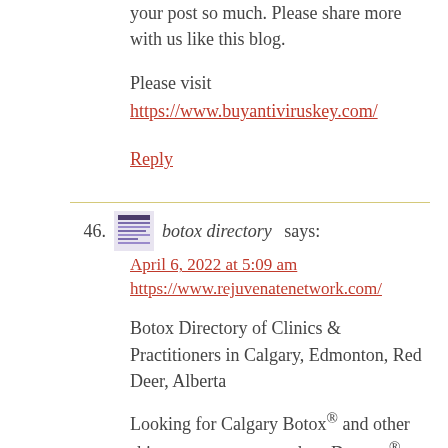your post so much. Please share more with us like this blog.
Please visit
https://www.buyantiviruskey.com/
Reply
46. botox directory says:
April 6, 2022 at 5:09 am
https://www.rejuvenatenetwork.com/
Botox Directory of Clinics & Practitioners in Calgary, Edmonton, Red Deer, Alberta
Looking for Calgary Botox® and other skincare treatments such as Dysport®, Xeomin®, dermal fillers and other